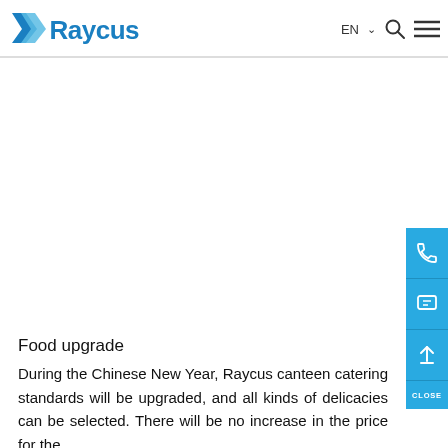Raycus | EN | navigation
Food upgrade
During the Chinese New Year, Raycus canteen catering standards will be upgraded, and all kinds of delicacies can be selected. There will be no increase in the price for the